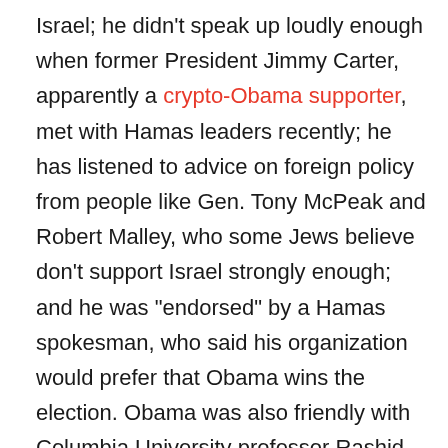Israel; he didn't speak up loudly enough when former President Jimmy Carter, apparently a crypto-Obama supporter, met with Hamas leaders recently; he has listened to advice on foreign policy from people like Gen. Tony McPeak and Robert Malley, who some Jews believe don't support Israel strongly enough; and he was "endorsed" by a Hamas spokesman, who said his organization would prefer that Obama wins the election. Obama was also friendly with Columbia University professor Rashid Khalidi when Khalidi taught at the University of Chicago. The Arab-American Khalidi's criticism of Israel and advocacy for Palestinians has made him extremely controversial among hawkish Jews. "[Obama] has not taken appropriate leadership on any of these issues," said